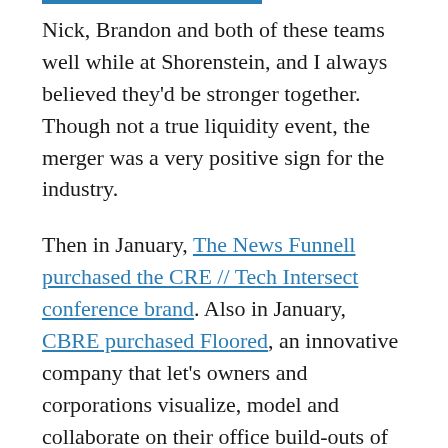Nick, Brandon and both of these teams well while at Shorenstein, and I always believed they'd be stronger together. Though not a true liquidity event, the merger was a very positive sign for the industry.
Then in January, The News Funnell purchased the CRE // Tech Intersect conference brand. Also in January, CBRE purchased Floored, an innovative company that let's owners and corporations visualize, model and collaborate on their office build-outs of every size and taste.  I also got an opportunity to see Floored's potential a few years ago when we were preparing to completely remodel a large office building in Houston. The product seemed